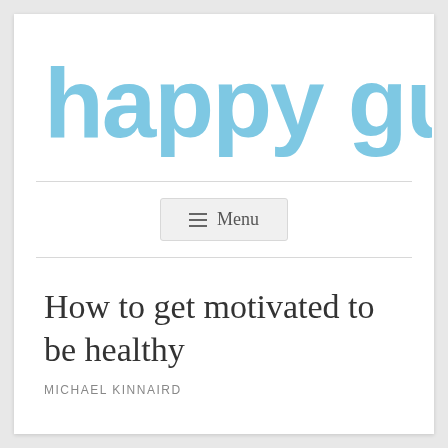[Figure (logo): happy guide logo in large rounded playful light blue lettering]
[Figure (other): Menu navigation button with hamburger icon and text 'Menu']
How to get motivated to be healthy
MICHAEL KINNAIRD